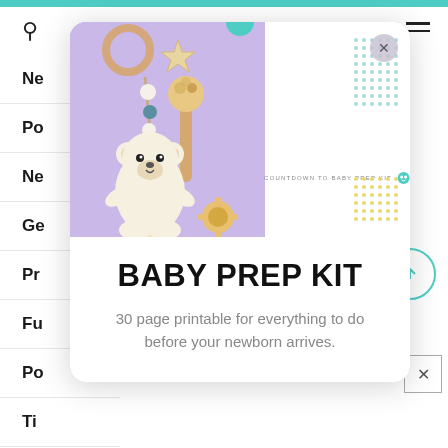[Figure (screenshot): Website screenshot showing a navigation menu partially visible on the left, with a modal popup overlay in the center-right. The modal contains a photo of baby toys (teddy bear, wooden rattles, stars) on a lavender background, a white document preview with 'COUNTDOWN TO BABY PREP KIT' label, and below that a large bold title 'BABY PREP KIT' with descriptive text. A teal top bar, search icon, hamburger menu, back-to-top button, and close button are also visible.]
BABY PREP KIT
30 page printable for everything to do before your newborn arrives.